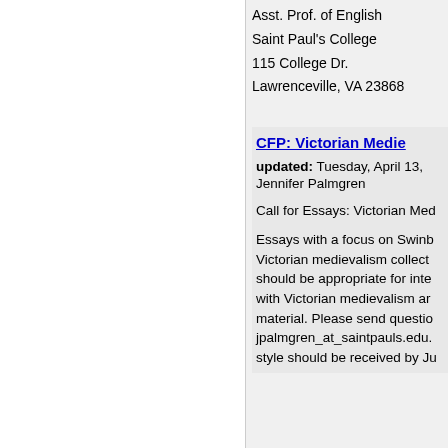Asst. Prof. of English
Saint Paul's College
115 College Dr.
Lawrenceville, VA 23868
CFP: Victorian Medie...
updated: Tuesday, April 13, ...
Jennifer Palmgren
Call for Essays: Victorian Med...
Essays with a focus on Swinb... Victorian medievalism collect... should be appropriate for inte... with Victorian medievalism ar... material. Please send questio... jpalmgren_at_saintpauls.edu.... style should be received by Ju...